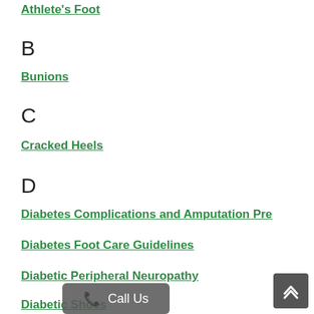Athlete's Foot
B
Bunions
C
Cracked Heels
D
Diabetes Complications and Amputation Pre...
Diabetes Foot Care Guidelines
Diabetic Peripheral Neuropathy
Diabetic Shoes
E